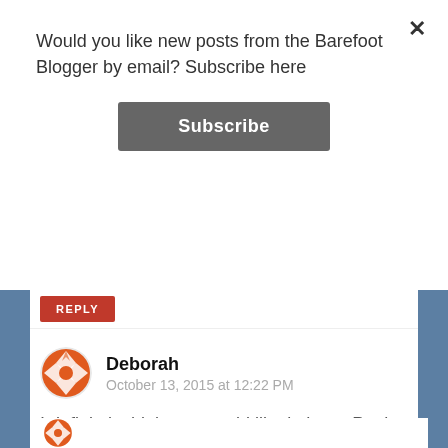Would you like new posts from the Barefoot Blogger by email? Subscribe here
Subscribe
REPLY
Deborah
October 13, 2015 at 12:22 PM
I definitely think you would like it there, Paula. But why not Uzes!??
REPLY